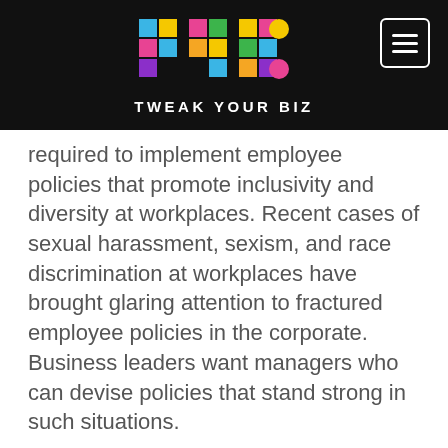[Figure (logo): Tweak Your Biz logo with colorful TYB letters on black background]
required to implement employee policies that promote inclusivity and diversity at workplaces. Recent cases of sexual harassment, sexism, and race discrimination at workplaces have brought glaring attention to fractured employee policies in the corporate. Business leaders want managers who can devise policies that stand strong in such situations.
5. Drive data-based approaches – CHROs today are expected to collect data on employees and derive insights. Workforce analytics is a growing in-demand skill as part of human resource management